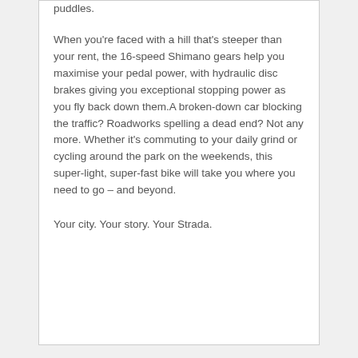puddles.
When you're faced with a hill that's steeper than your rent, the 16-speed Shimano gears help you maximise your pedal power, with hydraulic disc brakes giving you exceptional stopping power as you fly back down them.A broken-down car blocking the traffic? Roadworks spelling a dead end? Not any more. Whether it's commuting to your daily grind or cycling around the park on the weekends, this super-light, super-fast bike will take you where you need to go – and beyond.
Your city. Your story. Your Strada.